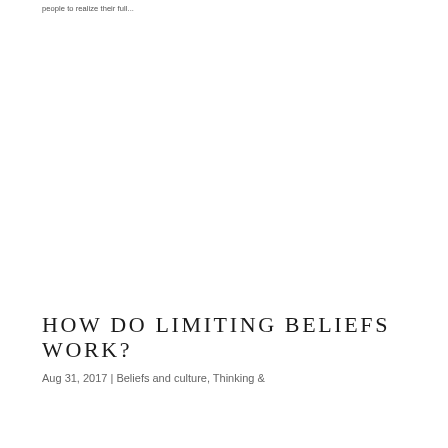people to realize their full...
HOW DO LIMITING BELIEFS WORK?
Aug 31, 2017 | Beliefs and culture, Thinking &